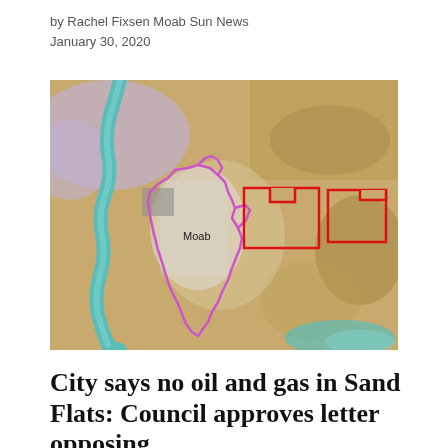by Rachel Fixsen Moab Sun News
January 30, 2020
[Figure (map): Aerial/topographic map of Moab, Utah area showing terrain in tan/gold colors with a river (Colorado River) in teal/green running along the left side. A purple outlined boundary marks the Moab city/county area. Two red outlined rectangles indicate oil and gas lease parcels east of Moab near Sand Flats area. A label reads 'Moab' near the center-left of the map.]
City says no oil and gas in Sand Flats: Council approves letter opposing